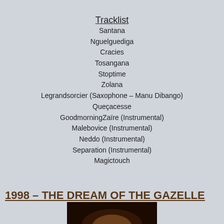Tracklist
Santana
Nguelguediga
Cracies
Tosangana
Stoptime
Zolana
Legrandsorcier (Saxophone – Manu Dibango)
Queçacesse
GoodmorningZaïre (Instrumental)
Malebovice (Instrumental)
Neddo (Instrumental)
Separation (Instrumental)
Magictouch
1998 – THE DREAM OF THE GAZELLE
[Figure (photo): Partial photo at bottom of page, dark toned image]